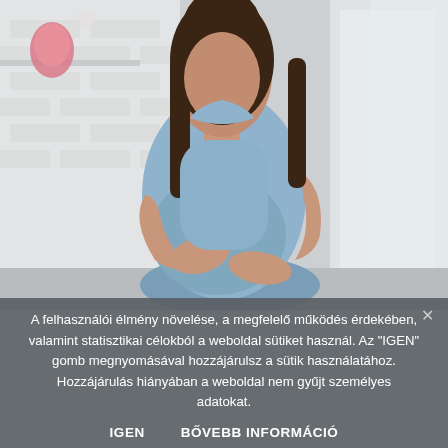[Figure (photo): A pregnant woman in a light blue denim sleeveless top sitting and holding her baby bump with both hands. Soft bright indoor background with white brick wall, shelves, and pink decor items. The woman has long dark hair.]
A felhasználói élmény növelése, a megfelelő működés érdekében, valamint statisztikai célokból a weboldal sütiket használ. Az "IGEN" gomb megnyomásával hozzájárulsz a sütik használatához. Hozzájárulás hiányában a weboldal nem gyűjt személyes adatokat.
IGEN      BŐVEBB INFORMÁCIÓ